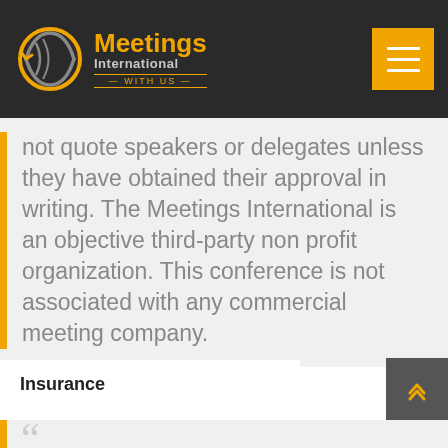Meetings International — WITH US
not quote speakers or delegates unless they have obtained their approval in writing. The Meetings International is an objective third-party non profit organization. This conference is not associated with any commercial meeting company.
Insurance